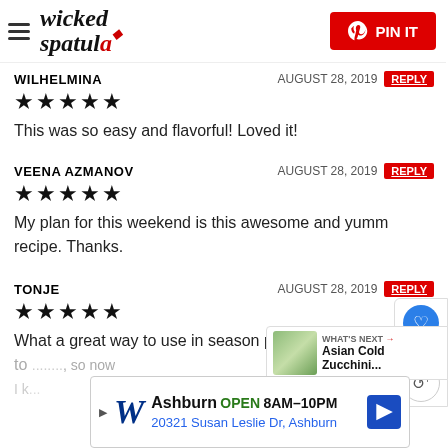wicked spatula | PIN IT
WILHELMINA — AUGUST 28, 2019 — REPLY
★★★★★
This was so easy and flavorful! Loved it!
VEENA AZMANOV — AUGUST 28, 2019 — REPLY
★★★★★
My plan for this weekend is this awesome and yumm recipe. Thanks.
TONJE — AUGUST 28, 2019 — REPLY
★★★★★
What a great way to use in season produce! I happen to ... so now I k...
[Figure (infographic): WHAT'S NEXT → Asian Cold Zucchini... promotional widget with food image]
[Figure (infographic): Walgreens ad banner: Ashburn OPEN 8AM-10PM, 20321 Susan Leslie Dr, Ashburn]